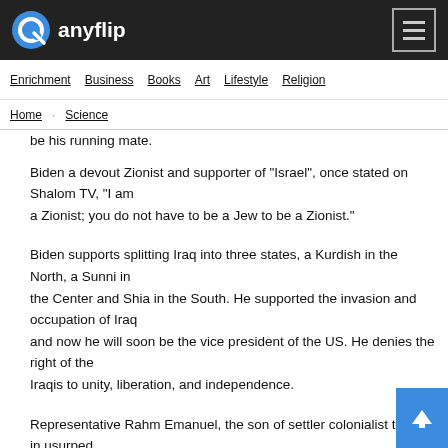anyflip
Enrichment  Business  Books  Art  Lifestyle  Religion
Home  Science
be his running mate.
Biden a devout Zionist and supporter of "Israel", once stated on Shalom TV, "I am a Zionist; you do not have to be a Jew to be a Zionist."
Biden supports splitting Iraq into three states, a Kurdish in the North, a Sunni in the Center and Shia in the South. He supported the invasion and occupation of Iraq and now he will soon be the vice president of the US. He denies the right of the Iraqis to unity, liberation, and independence.
Representative Rahm Emanuel, the son of settler colonialist terrorist in usurped Palestine was welcomed by America's Jewish community as